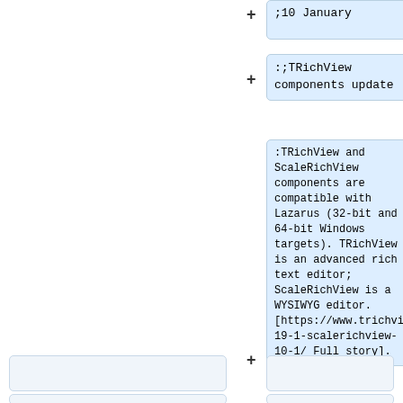;10 January
:;TRichView components update
:TRichView and ScaleRichView components are compatible with Lazarus (32-bit and 64-bit Windows targets). TRichView is an advanced rich text editor; ScaleRichView is a WYSIWYG editor. [https://www.trichview.com/wp/2021/01/10/trichview-19-1-scalerichview-10-1/ Full story].